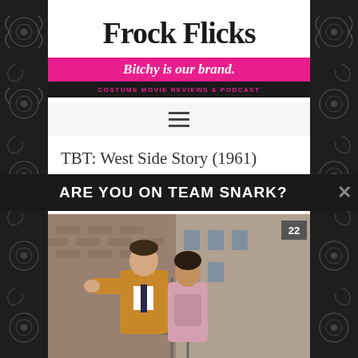[Figure (logo): Frock Flicks logo — serif title on white, pink banner with italic tagline 'Bitchy is our brand.', black bar with pink text 'COSTUME MOVIE REVIEWS & PODCAST']
[Figure (other): Hamburger menu icon (three horizontal lines)]
TBT: West Side Story (1961)
ARE YOU ON TEAM SNARK?
[Figure (photo): Movie still from West Side Story (1961) showing a man in a tan/orange jacket and a woman in a pink blouse on what appears to be a fire escape with a brick building in the background. Badge showing '22' in top right.]